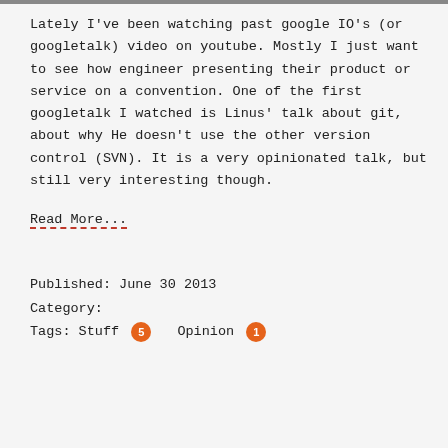Lately I've been watching past google IO's (or googletalk) video on youtube. Mostly I just want to see how engineer presenting their product or service on a convention. One of the first googletalk I watched is Linus' talk about git, about why He doesn't use the other version control (SVN). It is a very opinionated talk, but still very interesting though.
Read More...
Published: June 30 2013
Category:
Tags: Stuff 5  Opinion 1